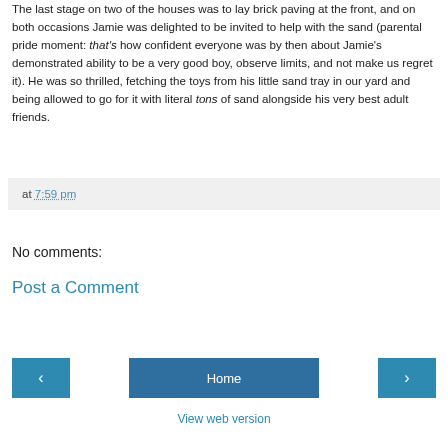The last stage on two of the houses was to lay brick paving at the front, and on both occasions Jamie was delighted to be invited to help with the sand (parental pride moment: that's how confident everyone was by then about Jamie's demonstrated ability to be a very good boy, observe limits, and not make us regret it). He was so thrilled, fetching the toys from his little sand tray in our yard and being allowed to go for it with literal tons of sand alongside his very best adult friends.
at 7:59 pm
No comments:
Post a Comment
Home
View web version